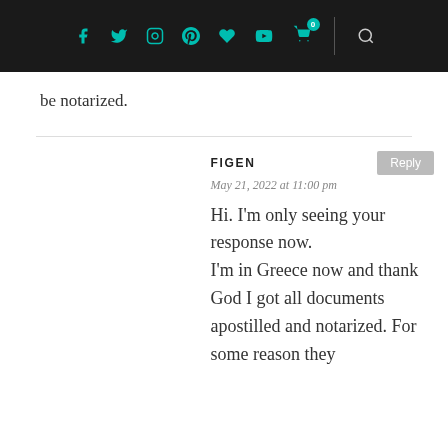Social media navigation bar with icons: Facebook, Twitter, Instagram, Pinterest, Heart, YouTube, Cart (0), Search
be notarized.
FIGEN
May 21, 2022 at 11:00 pm
Hi. I'm only seeing your response now.
I'm in Greece now and thank God I got all documents apostilled and notarized. For some reason they